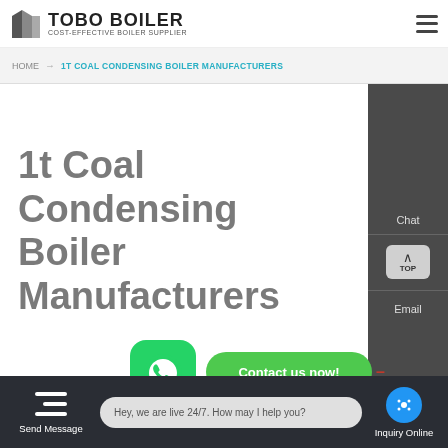TOBO BOILER - COST-EFFECTIVE BOILER SUPPLIER
HOME → 1T COAL CONDENSING BOILER MANUFACTURERS
1t Coal Condensing Boiler Manufacturers
[Figure (screenshot): Right sidebar with Chat, TOP button, and Email options on dark gray background]
[Figure (screenshot): WhatsApp green rounded square icon button]
[Figure (screenshot): Contact us now green pill-shaped button with red arrow]
HOT NEWS
[Figure (screenshot): Blue circle mail/envelope icon]
Send Message | Hey, we are live 24/7. How may I help you? | Inquiry Online